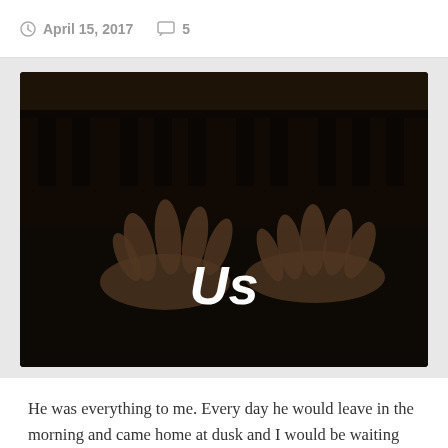April 15, 2017   5
[Figure (photo): Dark photograph of two hands playing piano keys with text 'Us' overlaid in large white bold italic font]
He was everything to me. Every day he would leave in the morning and came home at dusk and I would be waiting for him. He had a spring in his step every time he saw me and it made me feel so special. I lost track of time since I